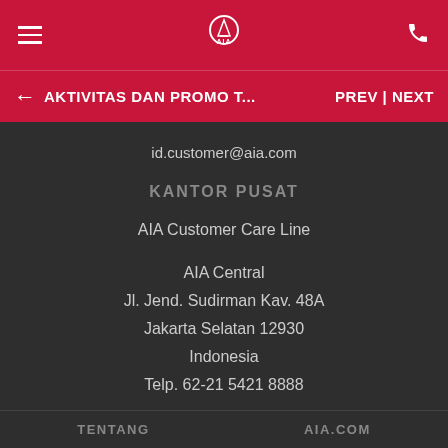AIA logo header with hamburger menu and phone icon
AKTIVITAS DAN PROMO T... PREV | NEXT
id.customer@aia.com
KANTOR PUSAT
AIA Customer Care Line
AIA Central
Jl. Jend. Sudirman Kav. 48A
Jakarta Selatan 12930
Indonesia
Telp. 62-21 5421 8888
Daftar Kantor AIA Di Luar Kantor Pusat
TENTANG   AIA.COM